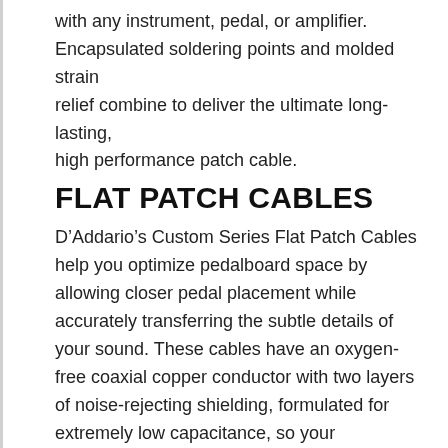with any instrument, pedal, or amplifier. Encapsulated soldering points and molded strain relief combine to deliver the ultimate long-lasting, high performance patch cable.
FLAT PATCH CABLES
D’Addario’s Custom Series Flat Patch Cables help you optimize pedalboard space by allowing closer pedal placement while accurately transferring the subtle details of your sound. These cables have an oxygen-free coaxial copper conductor with two layers of noise-rejecting shielding, formulated for extremely low capacitance, so your instrument’s brilliance, presence, and character transmit with the utmost transparency. The Flat Patch Cable plugs feature the patented Geo-Tip, which ensures a secure connection with any instrument, pedal, or amplifier. Encapsulated soldering points and molded strain